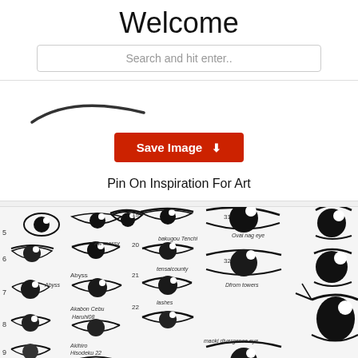Welcome
Search and hit enter..
[Figure (illustration): A hand-drawn curved eyebrow sketch on white background]
Save Image
Pin On Inspiration For Art
[Figure (illustration): A collection of anime/manga eye style sketches showing various eye types with handwritten labels and numbers including references like 'bakugou', 'todoroki', 'divergence eye', 'lashes', numbered 5 through 53]